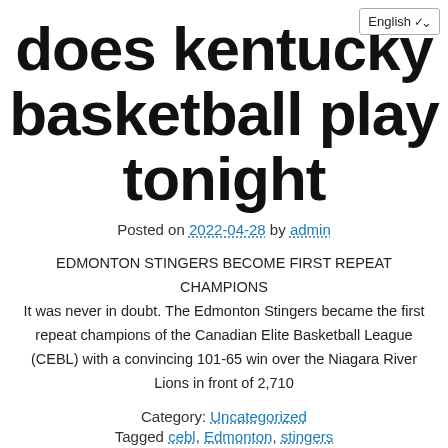does kentucky basketball play tonight
Posted on 2022-04-28 by admin
EDMONTON STINGERS BECOME FIRST REPEAT CHAMPIONS It was never in doubt. The Edmonton Stingers became the first repeat champions of the Canadian Elite Basketball League (CEBL) with a convincing 101-65 win over the Niagara River Lions in front of 2,710
Category: Uncategorized
Tagged cebl, Edmonton, stingers